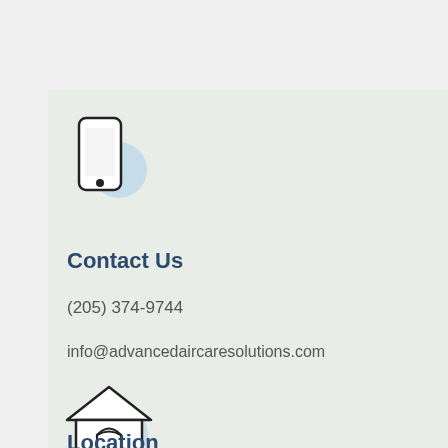[Figure (illustration): Phone/mobile icon with light blue circle accent]
Contact Us
(205) 374-9744
info@advancedaircaresolutions.com
[Figure (illustration): House/home icon with light blue circle accent]
Location